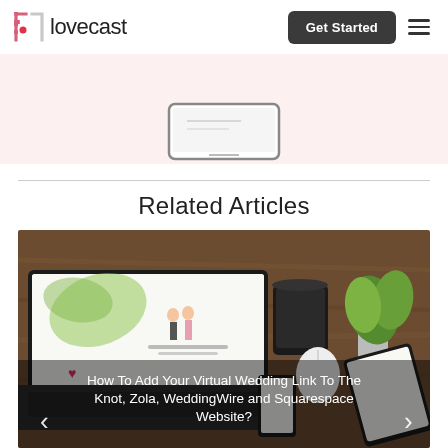lovecast — Get Started
[Figure (screenshot): Pink background banner with a phone/tablet mockup at center]
Related Articles
[Figure (photo): Laptop, phone, and tablet on wooden desk showing a wedding website. Overlay text: How To Add Your Virtual Wedding Link To The Knot, Zola, WeddingWire and Squarespace Website?]